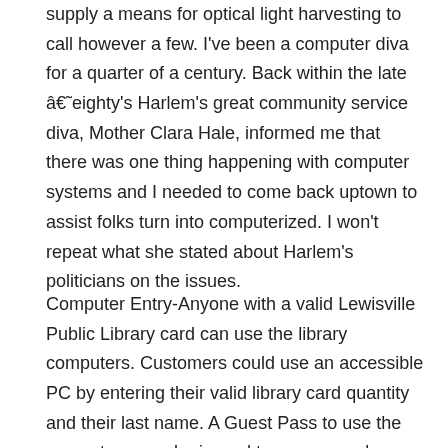supply a means for optical light harvesting to call however a few. I've been a computer diva for a quarter of a century. Back within the late â€˜eighty's Harlem's great community service diva, Mother Clara Hale, informed me that there was one thing happening with computer systems and I needed to come back uptown to assist folks turn into computerized. I won't repeat what she stated about Harlem's politicians on the issues.
Computer Entry-Anyone with a valid Lewisville Public Library card can use the library computers. Customers could use an accessible PC by entering their valid library card quantity and their last name. A Guest Pass to use the computers may be issued to anyone no less than 18 years old and who presents a valid, authorities issued picture ID. Embry-Riddle's laptop-related degree programs redesigned to make sure that students